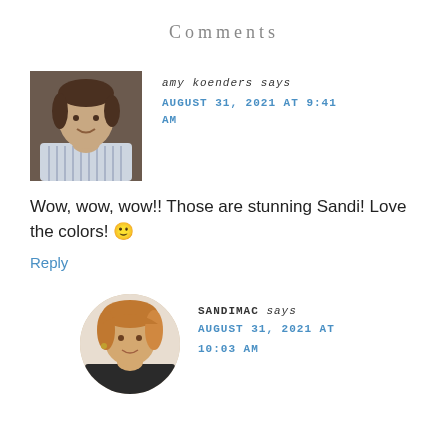Comments
amy koenders says
AUGUST 31, 2021 AT 9:41 AM
[Figure (photo): Headshot photo of Amy Koenders, a woman with short dark hair wearing a striped shirt, against a brown background]
Wow, wow, wow!! Those are stunning Sandi! Love the colors! 🙂
Reply
[Figure (photo): Circular headshot photo of Sandimac, a woman with short blonde/auburn hair]
SANDIMAC says
AUGUST 31, 2021 AT 10:03 AM